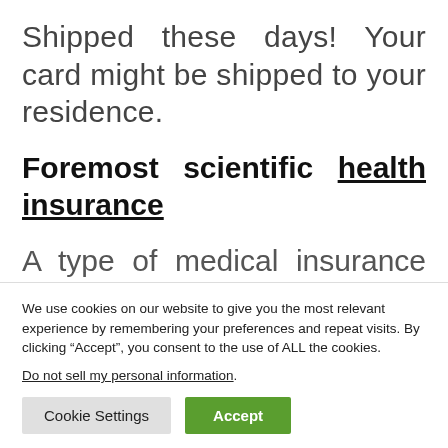Shipped these days! Your card might be shipped to your residence.
Foremost scientific health insurance
A type of medical insurance that
We use cookies on our website to give you the most relevant experience by remembering your preferences and repeat visits. By clicking “Accept”, you consent to the use of ALL the cookies.
Do not sell my personal information.